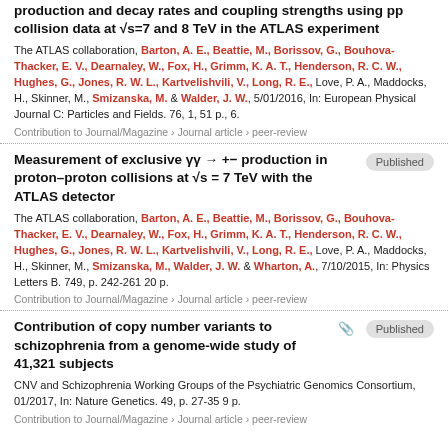production and decay rates and coupling strengths using pp collision data at √s=7 and 8 TeV in the ATLAS experiment
The ATLAS collaboration, Barton, A. E., Beattie, M., Borissov, G., Bouhova-Thacker, E. V., Dearnaley, W., Fox, H., Grimm, K. A. T., Henderson, R. C. W., Hughes, G., Jones, R. W. L., Kartvelishvili, V., Long, R. E., Love, P. A., Maddocks, H., Skinner, M., Smizanska, M. & Walder, J. W., 5/01/2016, In: European Physical Journal C: Particles and Fields. 76, 1, 51 p., 6.
Contribution to Journal/Magazine › Journal article › peer-review
Measurement of exclusive γγ → +− production in proton–proton collisions at √s = 7 TeV with the ATLAS detector
The ATLAS collaboration, Barton, A. E., Beattie, M., Borissov, G., Bouhova-Thacker, E. V., Dearnaley, W., Fox, H., Grimm, K. A. T., Henderson, R. C. W., Hughes, G., Jones, R. W. L., Kartvelishvili, V., Long, R. E., Love, P. A., Maddocks, H., Skinner, M., Smizanska, M., Walder, J. W. & Wharton, A., 7/10/2015, In: Physics Letters B. 749, p. 242-261 20 p.
Contribution to Journal/Magazine › Journal article › peer-review
Contribution of copy number variants to schizophrenia from a genome-wide study of 41,321 subjects
CNV and Schizophrenia Working Groups of the Psychiatric Genomics Consortium, 01/2017, In: Nature Genetics. 49, p. 27-35 9 p.
Contribution to Journal/Magazine › Journal article › peer-review